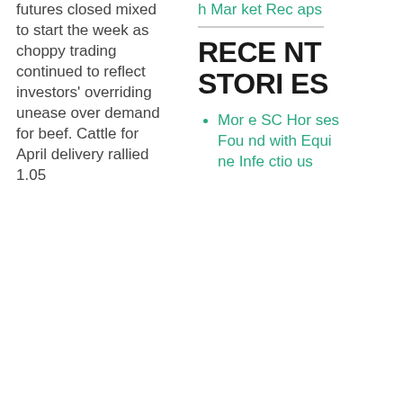futures closed mixed to start the week as choppy trading continued to reflect investors' overriding unease over demand for beef. Cattle for April delivery rallied 1.05
h Market Recaps
RECENT STORIES
More SC Horses Found with Equine Infectious